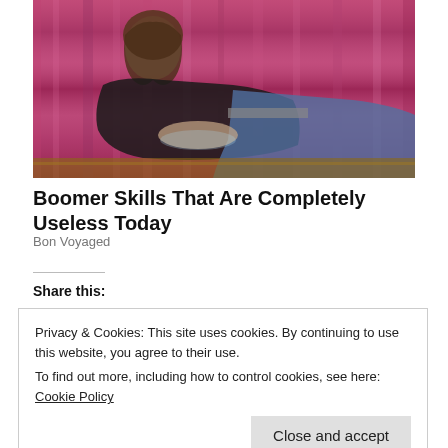[Figure (photo): A young woman with dark hair lying on a pink/magenta satin couch, wearing a black top and blue jeans]
Boomer Skills That Are Completely Useless Today
Bon Voyaged
Share this:
Privacy & Cookies: This site uses cookies. By continuing to use this website, you agree to their use.
To find out more, including how to control cookies, see here: Cookie Policy
Close and accept